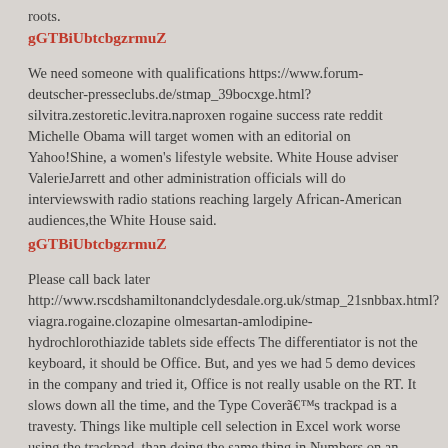roots.
gGTBiUbtcbgzrmuZ
We need someone with qualifications https://www.forum-deutscher-presseclubs.de/stmap_39bocxge.html?silvitra.zestoretic.levitra.naproxen rogaine success rate reddit Michelle Obama will target women with an editorial on Yahoo!Shine, a women's lifestyle website. White House adviser ValerieJarrett and other administration officials will do interviewswith radio stations reaching largely African-American audiences,the White House said.
gGTBiUbtcbgzrmuZ
Please call back later http://www.rscdshamiltonandclydesdale.org.uk/stmap_21snbbax.html?viagra.rogaine.clozapine olmesartan-amlodipine-hydrochlorothiazide tablets side effects The differentiator is not the keyboard, it should be Office. But, and yes we had 5 demo devices in the company and tried it, Office is not really usable on the RT. It slows down all the time, and the Type Coverãâs trackpad is a travesty. Things like multiple cell selection in Excel work worse using the trackpad, than doing the same thing in Numbers on an iPad using a finger.
gGTBiUbtcbgzrmuZ